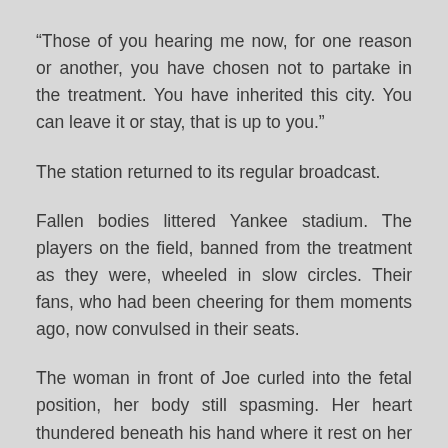“Those of you hearing me now, for one reason or another, you have chosen not to partake in the treatment. You have inherited this city. You can leave it or stay, that is up to you.”
The station returned to its regular broadcast.
Fallen bodies littered Yankee stadium. The players on the field, banned from the treatment as they were, wheeled in slow circles. Their fans, who had been cheering for them moments ago, now convulsed in their seats.
The woman in front of Joe curled into the fetal position, her body still spasming. Her heart thundered beneath his hand where it rest on her back.